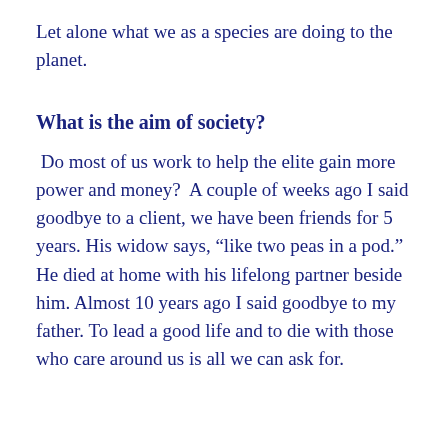Let alone what we as a species are doing to the planet.
What is the aim of society?
Do most of us work to help the elite gain more power and money?  A couple of weeks ago I said goodbye to a client, we have been friends for 5 years. His widow says, “like two peas in a pod.” He died at home with his lifelong partner beside him. Almost 10 years ago I said goodbye to my father. To lead a good life and to die with those who care around us is all we can ask for.